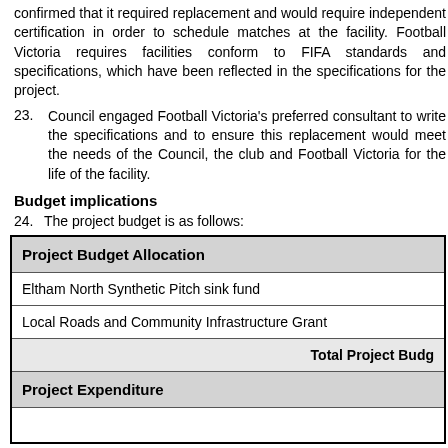confirmed that it required replacement and would require independent certification in order to schedule matches at the facility. Football Victoria requires facilities conform to FIFA standards and specifications, which have been reflected in the specifications for the project.
23.   Council engaged Football Victoria's preferred consultant to write the specifications and to ensure this replacement would meet the needs of the Council, the club and Football Victoria for the life of the facility.
Budget implications
24.  The project budget is as follows:
| Project Budget Allocation |  |
| --- | --- |
| Eltham North Synthetic Pitch sink fund |  |
| Local Roads and Community Infrastructure Grant |  |
| Total Project Budg |  |
| Project Expenditure |  |